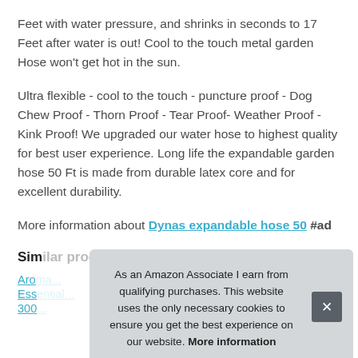Feet with water pressure, and shrinks in seconds to 17 Feet after water is out! Cool to the touch metal garden Hose won't get hot in the sun.
Ultra flexible - cool to the touch - puncture proof - Dog Chew Proof - Thorn Proof - Tear Proof- Weather Proof - Kink Proof! We upgraded our water hose to highest quality for best user experience. Long life the expandable garden hose 50 Ft is made from durable latex core and for excellent durability.
More information about Dynas expandable hose 50 #ad
Sim...
Aro...
Ess...
300...
As an Amazon Associate I earn from qualifying purchases. This website uses the only necessary cookies to ensure you get the best experience on our website. More information